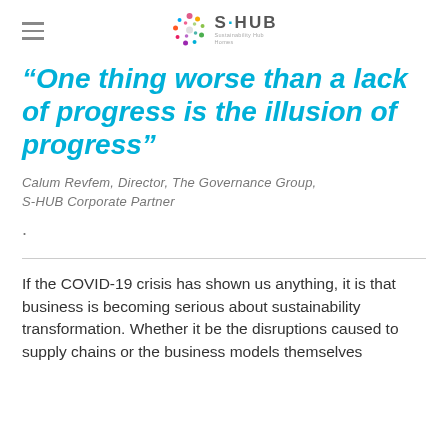S·HUB Sustainability Hub Homes
“One thing worse than a lack of progress is the illusion of progress”
Calum Revfem, Director, The Governance Group,
S-HUB Corporate Partner
.
If the COVID-19 crisis has shown us anything, it is that business is becoming serious about sustainability transformation. Whether it be the disruptions caused to supply chains or the business models themselves...